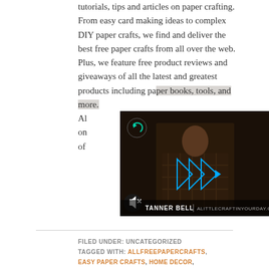tutorials, tips and articles on paper crafting. From easy card making ideas to complex DIY paper crafts, we find and deliver the best free paper crafts from all over the web. Plus, we feature free product reviews and giveaways of all the latest and greatest products including paper books, tools, and more. All of our paper crafting tutorials on AllFreePaperCrafts are offered for free.
[Figure (screenshot): Dark video player showing a person in a plaid shirt against a wood-paneled background. Play button icon visible. Text reads TANNER BELL ALITTLECRAFTINYOURDAY.COM. Mute icon visible on left.]
FILED UNDER: UNCATEGORIZED
TAGGED WITH: ALLFREEPAPERCRAFTS, EASY PAPER CRAFTS, HOME DECOR, PAPER CRAFTS